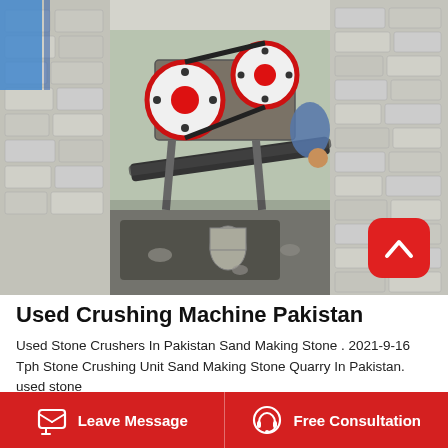[Figure (photo): Overhead/top-down photo of a used stone crushing machine in Pakistan, set inside concrete walls. The machine has two large red and white flywheels with a conveyor belt below. A person is partially visible on the right side. Industrial quarry setting with concrete block walls.]
Used Crushing Machine Pakistan
Used Stone Crushers In Pakistan Sand Making Stone . 2021-9-16 Tph Stone Crushing Unit Sand Making Stone Quarry In Pakistan. used stone
Leave Message   Free Consultation